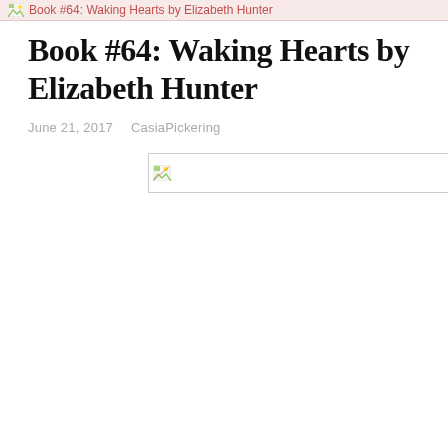Book #64: Waking Hearts by Elizabeth Hunter
Book #64: Waking Hearts by Elizabeth Hunter
June 21, 2017   CasiaPickering
[Figure (photo): Broken image placeholder box with small broken image icon in top-left corner]